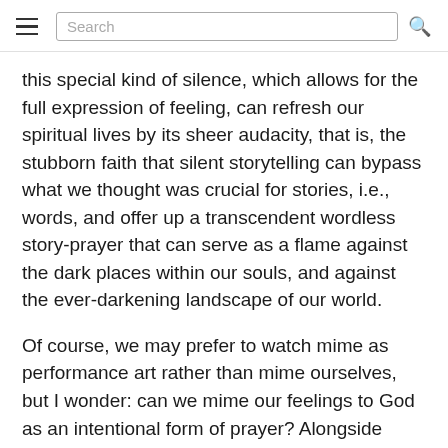Search
this special kind of silence, which allows for the full expression of feeling, can refresh our spiritual lives by its sheer audacity, that is, the stubborn faith that silent storytelling can bypass what we thought was crucial for stories, i.e., words, and offer up a transcendent wordless story-prayer that can serve as a flame against the dark places within our souls, and against the ever-darkening landscape of our world.
Of course, we may prefer to watch mime as performance art rather than mime ourselves, but I wonder: can we mime our feelings to God as an intentional form of prayer? Alongside other forms of contemplative prayer and meditation, we might want to make room in our practice for "mime prayer." Why? Because our stories are important, and our feelings